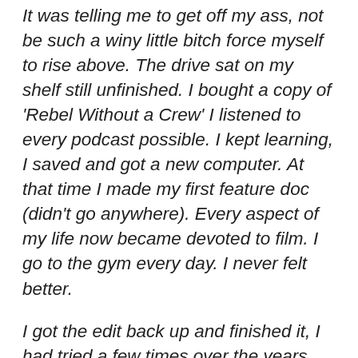It was telling me to get off my ass, not be such a winy little bitch force myself to rise above. The drive sat on my shelf still unfinished. I bought a copy of 'Rebel Without a Crew' I listened to every podcast possible. I kept learning, I saved and got a new computer. At that time I made my first feature doc (didn't go anywhere). Every aspect of my life now became devoted to film. I go to the gym every day. I never felt better.
I got the edit back up and finished it, I had tried a few times over the years borrowing friends' computers and such but, I couldn't even look at the thing it was almost hatred for the film I had once admired. I was becoming more like myself at this point, no more complaining, no more wine. I finished the edit. I learned after-